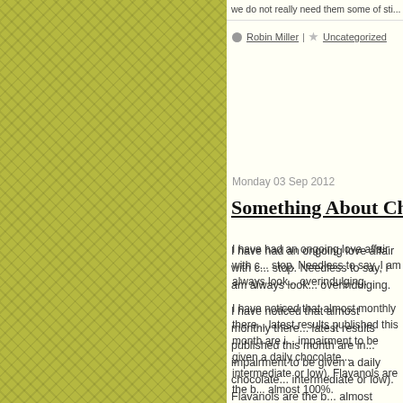we do not really need them some of sti...
Robin Miller | Uncategorized
Monday 03 Sep 2012
Something About Chocol...
I have had an ongoing love affair with c... stop. Needless to say, I am always look... overindulging.
I have noticed that almost monthly there... latest results published this month are i... impairment to be given a daily chocolate... intermediate or low). Flavanols are the b... almost 100%.
Cognitive function was evaluated using... intermediate flavanol drinks completed t... improved most.
Those given the high and intermediate f... cholesterol, triglycerides and LDL chole...
It is doubtful that Alzheimer's disea...